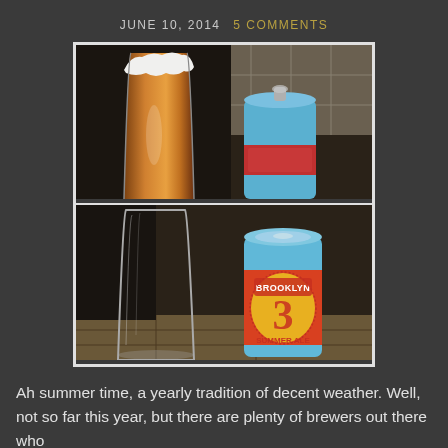JUNE 10, 2014  5 COMMENTS
[Figure (photo): Two-panel photo: top panel shows a tall pilsner glass filled with amber beer and white foam head next to an open blue Brooklyn Summer Ale can; bottom panel shows an empty pilsner glass next to an unopened Brooklyn Summer Ale can with visible label.]
Ah summer time, a yearly tradition of decent weather. Well, not so far this year, but there are plenty of brewers out there who